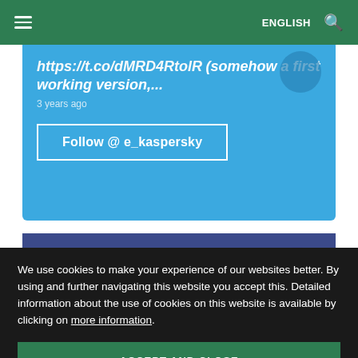ENGLISH
https://t.co/dMRD4RtolR (somehow a first working version,...
3 years ago
Follow @ e_kaspersky
[Figure (screenshot): Facebook social media widget with dark blue background and large Facebook 'f' logo watermark]
We use cookies to make your experience of our websites better. By using and further navigating this website you accept this. Detailed information about the use of cookies on this website is available by clicking on more information.
ACCEPT AND CLOSE